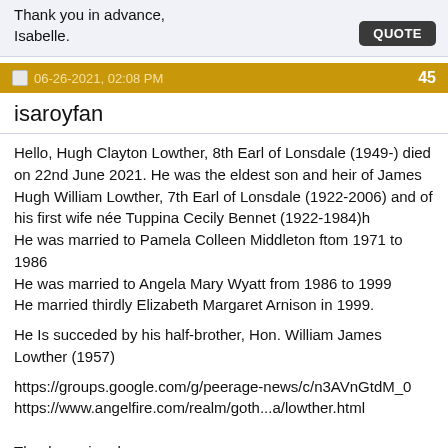Thank you in advance,
Isabelle.
06-26-2021, 02:08 PM  45
isaroyfan
Hello, Hugh Clayton Lowther, 8th Earl of Lonsdale (1949-) died on 22nd June 2021. He was the eldest son and heir of James Hugh William Lowther, 7th Earl of Lonsdale (1922-2006) and of his first wife née Tuppina Cecily Bennet (1922-1984)h
He was married to Pamela Colleen Middleton ftom 1971 to 1986
He was married to Angela Mary Wyatt from 1986 to 1999
He married thirdly Elizabeth Margaret Arnison in 1999.

He Is succeded by his half-brother, Hon. William James Lowther (1957)

https://groups.google.com/g/peerage-news/c/n3AVnGtdM_0
https://www.angelfire.com/realm/goth...a/lowther.html
Thank you in advance,
Isabelle.